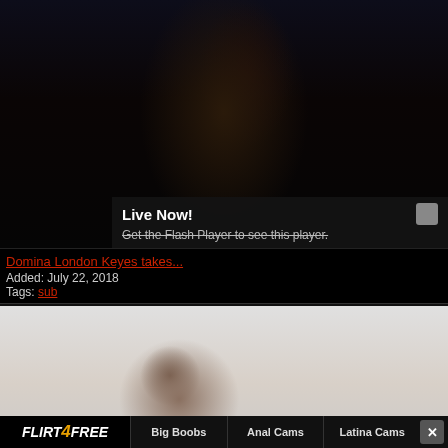[Figure (screenshot): Video thumbnail showing a dark-themed adult content preview with a 'Live Now!' overlay and Flash Player message]
Domina London Keyes takes...
Added: July 22, 2018
Tags: sub
[Figure (screenshot): Second video thumbnail showing a person in a light-colored kitchen setting]
FLIRT4FREE | Big Boobs | Anal Cams | Latina Cams